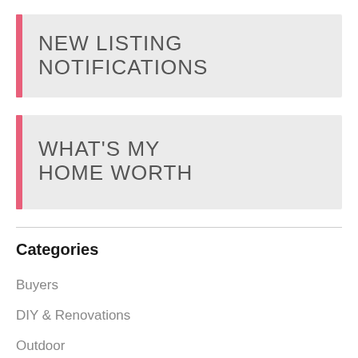NEW LISTING NOTIFICATIONS
WHAT'S MY HOME WORTH
Categories
Buyers
DIY & Renovations
Outdoor
Real Estate News